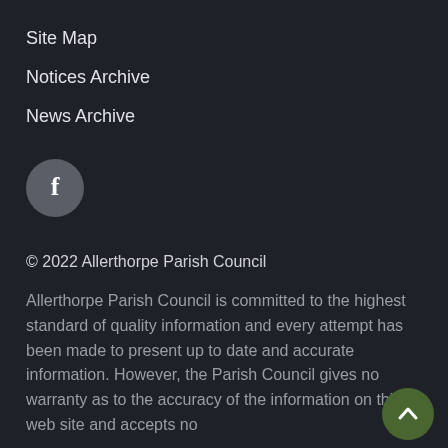Site Map
Notices Archive
News Archive
[Figure (logo): Facebook icon button — circular grey button with white 'f' letter]
© 2022 Allerthorpe Parish Council
Allerthorpe Parish Council is committed to the highest standard of quality information and every attempt has been made to present up to date and accurate information. However, the Parish Council gives no warranty as to the accuracy of the information on this web site and accepts no
[Figure (illustration): Scroll-to-top button — circular dark green button with white upward chevron arrow]